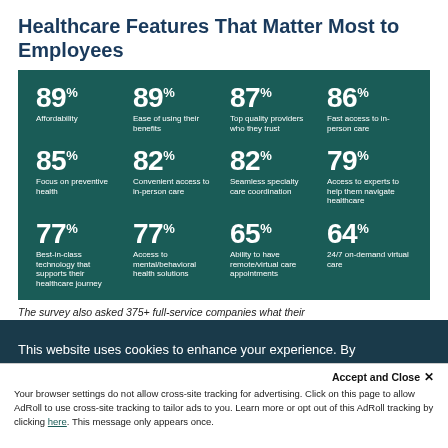Healthcare Features That Matter Most to Employees
[Figure (infographic): Teal/dark green grid of 12 statistics showing healthcare features that matter most to employees, displayed as large percentage numbers with labels in white text on a dark teal background. 4 columns x 3 rows: 89% Affordability, 89% Ease of using their benefits, 87% Top quality providers who they trust, 86% Fast access to in-person care, 85% Focus on preventive health, 82% Convenient access to in-person care, 82% Seamless specialty care coordination, 79% Access to experts to help them navigate healthcare, 77% Best-in-class technology that supports their healthcare journey, 77% Access to mental/behavioral health solutions, 65% Ability to have remote/virtual care appointments, 64% 24/7 on-demand virtual care]
The survey also asked 375+ full-service companies what their
This website uses cookies to enhance your experience. By
Accept and Close ×
Your browser settings do not allow cross-site tracking for advertising. Click on this page to allow AdRoll to use cross-site tracking to tailor ads to you. Learn more or opt out of this AdRoll tracking by clicking here. This message only appears once.